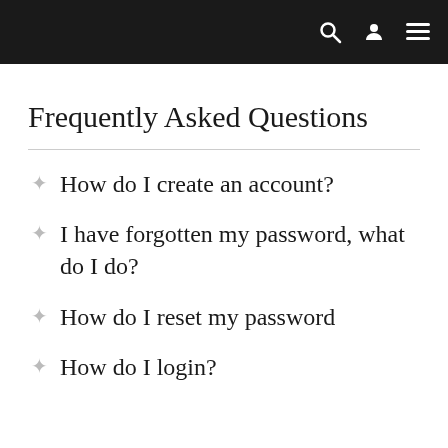navigation bar with search, user, and menu icons
Frequently Asked Questions
How do I create an account?
I have forgotten my password, what do I do?
How do I reset my password
How do I login?